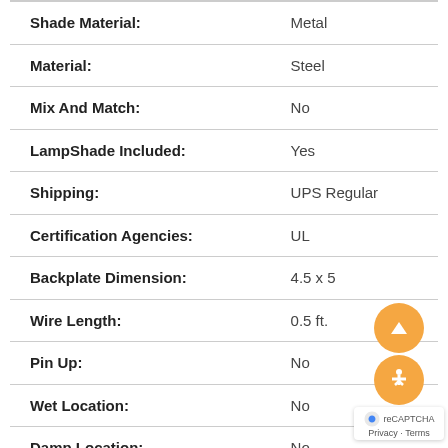| Attribute | Value |
| --- | --- |
| Shade Material: | Metal |
| Material: | Steel |
| Mix And Match: | No |
| LampShade Included: | Yes |
| Shipping: | UPS Regular |
| Certification Agencies: | UL |
| Backplate Dimension: | 4.5 x 5 |
| Wire Length: | 0.5 ft. |
| Pin Up: | No |
| Wet Location: | No |
| Damp Location: | No |
| Weight: | 5.2 lbs |